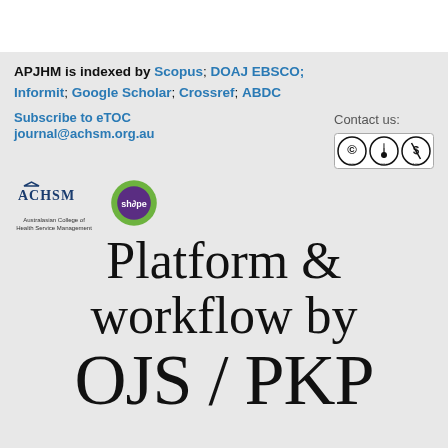APJHM is indexed by Scopus; DOAJ EBSCO; Informit; Google Scholar; Crossref; ABDC
Subscribe to eTOC
Contact us:
journal@achsm.org.au
[Figure (logo): Creative Commons BY NC license badge]
[Figure (logo): ACHSM - Australasian College of Health Service Management logo]
[Figure (logo): SHaPE logo - green and purple circular logo]
Platform & workflow by
OJS / PKP